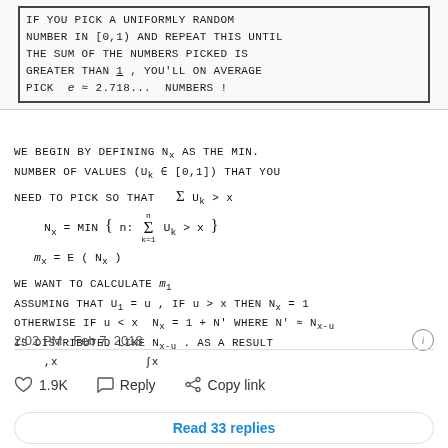IF YOU PICK A UNIFORMLY RANDOM NUMBER IN [0,1) AND REPEAT THIS UNTIL THE SUM OF THE NUMBERS PICKED IS GREATER THAN 1, YOU'LL ON AVERAGE PICK e ≈ 2.718... NUMBERS!
WE BEGIN BY DEFINING N_x AS THE MIN. NUMBER OF VALUES (U_k ∈ [0,1]) THAT YOU NEED TO PICK SO THAT Σ U_k > x
WE WANT TO CALCULATE m1
ASSUMING THAT U_1 = u, IF u > x THEN N_x = 1
OTHERWISE IF u < x N_x = 1 + N' WHERE N' ≈ N_{x-u} IS DISTRIBUTED LIKE N_{x-u}. AS A RESULT
2:02 PM · Feb 7, 2018
♡ 1.9K   Reply   Copy link
Read 33 replies